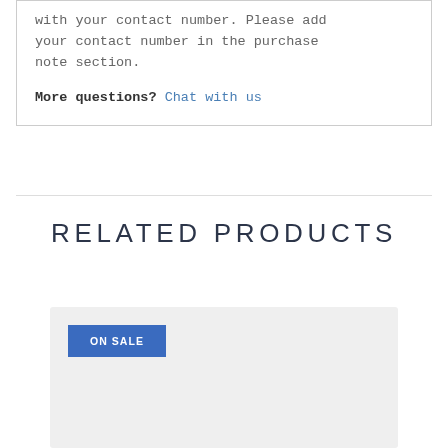with your contact number. Please add your contact number in the purchase note section.
More questions? Chat with us
RELATED PRODUCTS
[Figure (other): Product card with ON SALE badge on light gray background]